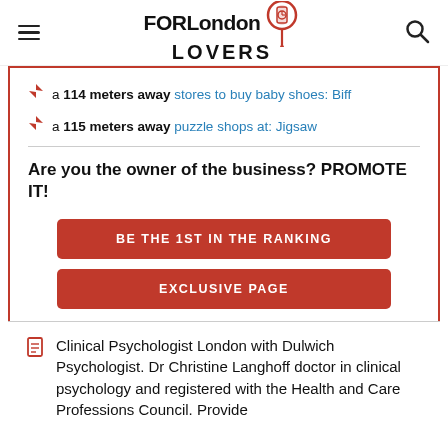FORLondon LOVERS
a 114 meters away stores to buy baby shoes: Biff
a 115 meters away puzzle shops at: Jigsaw
Are you the owner of the business? PROMOTE IT!
BE THE 1ST IN THE RANKING
EXCLUSIVE PAGE
Clinical Psychologist London with Dulwich Psychologist. Dr Christine Langhoff doctor in clinical psychology and registered with the Health and Care Professions Council. Provide